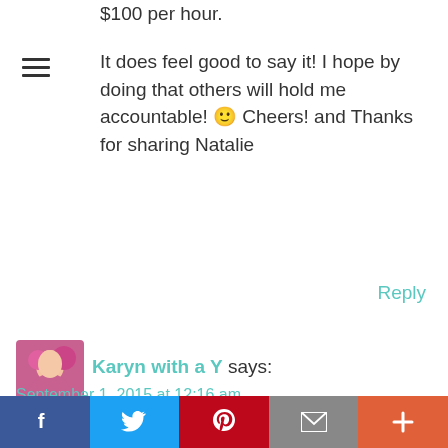$100 per hour.
It does feel good to say it! I hope by doing that others will hold me accountable! 🙂 Cheers! and Thanks for sharing Natalie
Reply
[Figure (photo): Avatar photo of Karyn with a Y, a woman with pink balloons]
Karyn with a Y says:
September 1, 2015 at 12:16 am
Hi Natalie,

I just found this and LOVE IT!

My Fuck off price is $120+tax per hour. Had a bad run lately of people not paying
[Figure (infographic): Social sharing bar with Facebook, Twitter, Pinterest, Email, and More buttons]